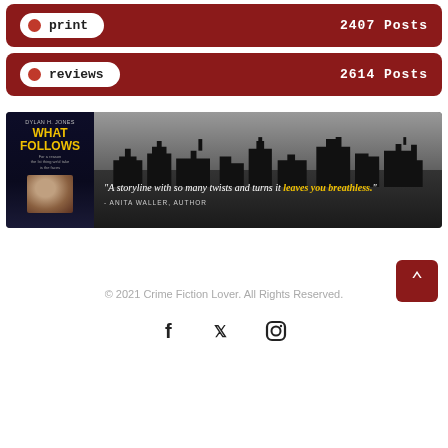print  2407 Posts
reviews  2614 Posts
[Figure (illustration): Book advertisement banner for 'What Follows' by Dylan H. Jones featuring a city skyline silhouette and a quote: 'A storyline with so many twists and turns it leaves you breathless.' - Anita Waller, Author]
© 2021 Crime Fiction Lover. All Rights Reserved.
[Figure (infographic): Social media icons: Facebook, Twitter, Instagram]